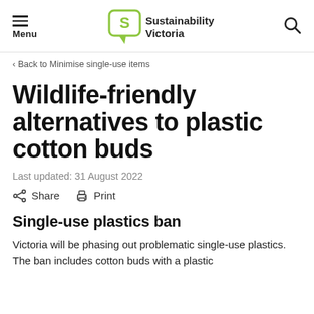Menu | Sustainability Victoria | Search
< Back to Minimise single-use items
Wildlife-friendly alternatives to plastic cotton buds
Last updated: 31 August 2022
Share   Print
Single-use plastics ban
Victoria will be phasing out problematic single-use plastics. The ban includes cotton buds with a plastic